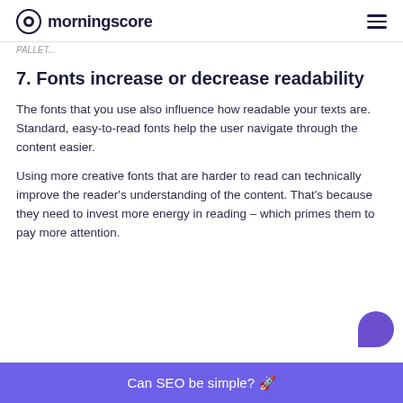morningscore
PALLET...
7. Fonts increase or decrease readability
The fonts that you use also influence how readable your texts are. Standard, easy-to-read fonts help the user navigate through the content easier.
Using more creative fonts that are harder to read can technically improve the reader's understanding of the content. That's because they need to invest more energy in reading – which primes them to pay more attention.
Can SEO be simple? 🚀